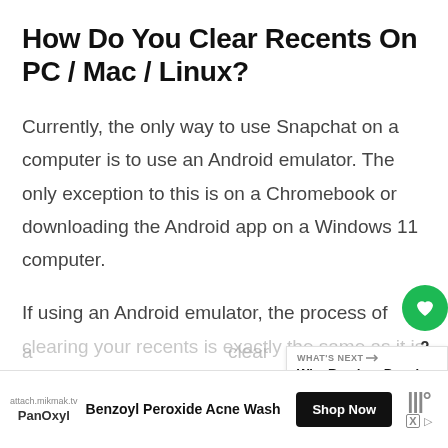How Do You Clear Recents On PC / Mac / Linux?
Currently, the only way to use Snapchat on a computer is to use an Android emulator. The only exception to this is on a Chromebook or downloading the Android app on a Windows 11 computer.
If using an Android emulator, the process of clearing your recents is exactly the same as it is on phone. Just visit your settings, go
[Figure (other): UI overlay: heart/like button (green circle), count '2', and share button (grey circle with share icon)]
[Figure (other): WHAT'S NEXT widget showing 'Why Random People Are...' with small thumbnail]
[Figure (other): Advertisement banner at bottom: PanOxyl Benzoyl Peroxide Acne Wash from attach.mikmak.tv with Shop Now button]